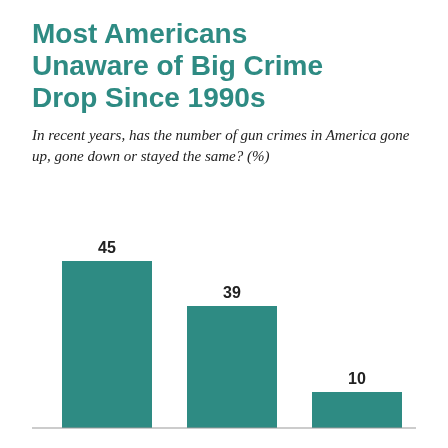Most Americans Unaware of Big Crime Drop Since 1990s
In recent years, has the number of gun crimes in America gone up, gone down or stayed the same? (%)
[Figure (bar-chart): Most Americans Unaware of Big Crime Drop Since 1990s]